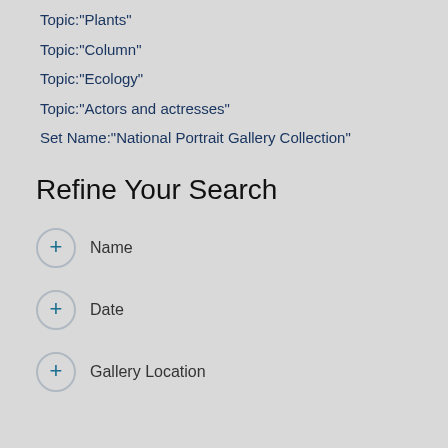Topic:"Plants"
Topic:"Column"
Topic:"Ecology"
Topic:"Actors and actresses"
Set Name:"National Portrait Gallery Collection"
Refine Your Search
+ Name
+ Date
+ Gallery Location